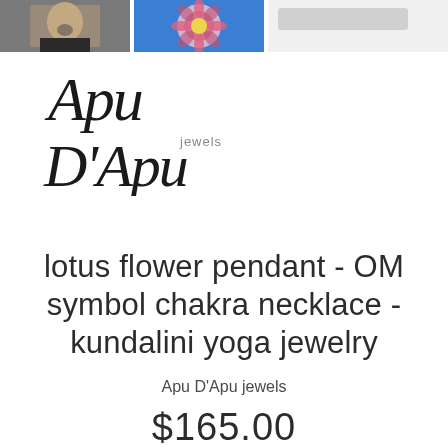[Figure (photo): Two product photos at top: woman wearing chakra necklace, and a mandala pendant on blue background; plus a partial third image]
[Figure (logo): Apu D'Apu jewels handwritten script logo]
lotus flower pendant - OM symbol chakra necklace - kundalini yoga jewelry
Apu D'Apu jewels
$165.00